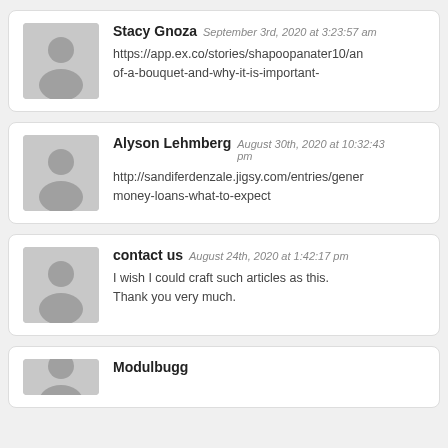Stacy Gnoza September 3rd, 2020 at 3:23:57 am
https://app.ex.co/stories/shapoopanater10/an of-a-bouquet-and-why-it-is-important-
Alyson Lehmberg August 30th, 2020 at 10:32:43 pm
http://sandiferdenzale.jigsy.com/entries/gener money-loans-what-to-expect
contact us August 24th, 2020 at 1:42:17 pm
I wish I could craft such articles as this. Thank you very much.
Modulbugg ...